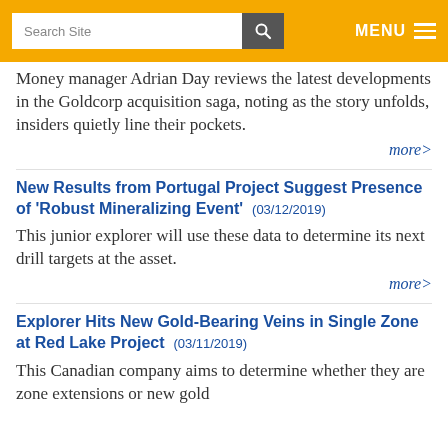Search Site | MENU
Money manager Adrian Day reviews the latest developments in the Goldcorp acquisition saga, noting as the story unfolds, insiders quietly line their pockets.
more>
New Results from Portugal Project Suggest Presence of 'Robust Mineralizing Event'  (03/12/2019)
This junior explorer will use these data to determine its next drill targets at the asset.
more>
Explorer Hits New Gold-Bearing Veins in Single Zone at Red Lake Project  (03/11/2019)
This Canadian company aims to determine whether they are zone extensions or new gold